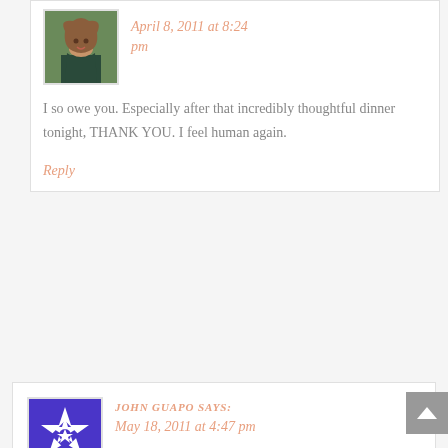[Figure (photo): Profile photo of a woman with long brown hair, smiling, outdoors with green background]
April 8, 2011 at 8:24 pm
I so owe you. Especially after that incredibly thoughtful dinner tonight, THANK YOU. I feel human again.
Reply
JOHN GUAPO says:
[Figure (illustration): Purple geometric star/snowflake pattern avatar icon]
May 18, 2011 at 4:47 pm